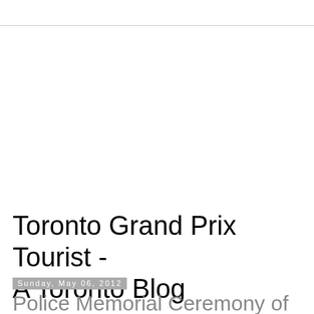Toronto Grand Prix Tourist - A Toronto Blog
Sunday, May 06, 2012
Police Memorial Ceremony of